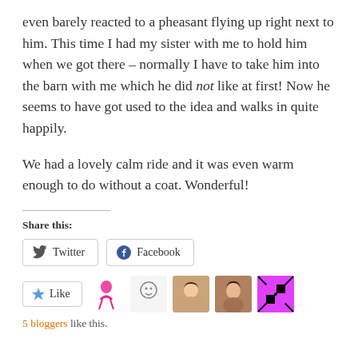even barely reacted to a pheasant flying up right next to him.  This time I had my sister with me to hold him when we got there – normally I have to take him into the barn with me which  he did not like at first!  Now he seems to have got used to the idea and walks in quite happily.
We had a lovely calm ride and it was even warm enough to do without a coat.  Wonderful!
Share this:
[Figure (screenshot): Twitter and Facebook share buttons]
[Figure (screenshot): Like button and 5 blogger avatars]
5 bloggers like this.